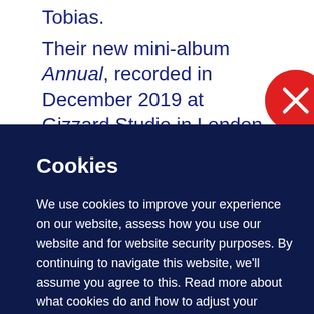Tobias.
Their new mini-album Annual, recorded in December 2019 at Gizzard Studio in London, is
Cookies
We use cookies to improve your experience on our website, assess how you use our website and for website security purposes. By continuing to navigate this website, we'll assume you agree to this. Read more about what cookies do and how to adjust your settings here.